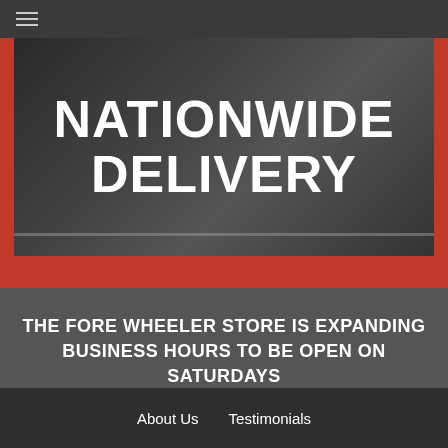≡
[Figure (photo): Dark background image with white bold text reading NATIONWIDE DELIVERY, overlaid on what appears to be a road/automotive scene]
THE FORE WHEELER STORE IS EXPANDING BUSINESS HOURS TO BE OPEN ON SATURDAYS FROM 10AM – 2PM
About Us   Testimonials